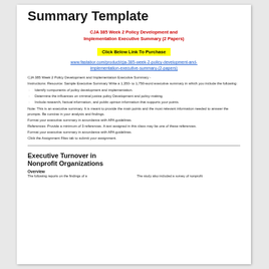Summary Template
CJA 385 Week 2 Policy Development and Implementation Executive Summary (2 Papers)
Click Below Link To Purchase
www.fastabor.com/product/cja-385-week-2-policy-development-and-implementation-executive-summary-(2-papers)
CJA 385 Week 2 Policy Development and Implementation Executive Summary -
Instructions: Resource: Sample Executive Summary Write a 1,350- to 1,750-word executive summary in which you include the following:
Identify components of policy development and implementation.
Determine the influences on criminal justice policy Development and policy-making.
Include research, factual information, and public opinion information that supports your points.
Note: This is an executive summary. It is meant to provide the main points and the most relevant information needed to answer the prompts. Be concise in your analysis and findings.
Format your executive summary in accordance with APA guidelines.
References: Provide a minimum of 3 references. A text assigned in this class may be one of these references.
Format your executive summary in accordance with APA guidelines.
Click the Assignment Files tab to submit your assignment.
Executive Turnover in Nonprofit Organizations
Overview
The following reports on the findings of a
The study also included a survey of nonprofit